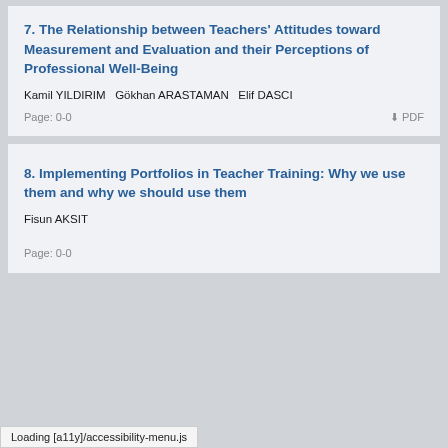7. The Relationship between Teachers' Attitudes toward Measurement and Evaluation and their Perceptions of Professional Well-Being
Kamil YILDIRIM   Gökhan ARASTAMAN   Elif DASCI
Page: 0-0
8. Implementing Portfolios in Teacher Training: Why we use them and why we should use them
Fisun AKSIT
Page: 0-0
Loading [a11y]/accessibility-menu.js